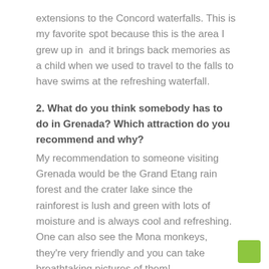extensions to the Concord waterfalls. This is my favorite spot because this is the area I grew up in and it brings back memories as a child when we used to travel to the falls to have swims at the refreshing waterfall.
2. What do you think somebody has to do in Grenada? Which attraction do you recommend and why?
My recommendation to someone visiting Grenada would be the Grand Etang rain forest and the crater lake since the rainforest is lush and green with lots of moisture and is always cool and refreshing. One can also see the Mona monkeys, they're very friendly and you can take breathtaking pictures of them!